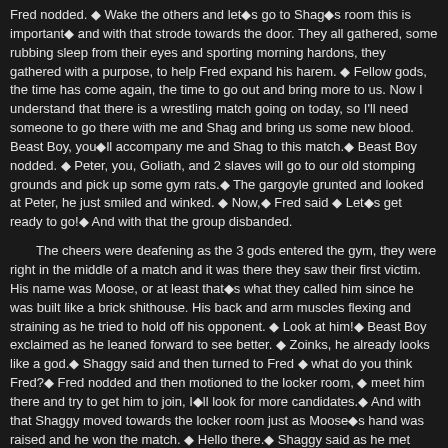Fred nodded. ◆ Wake the others and let’s go to Shag’s room this is important◆ and with that strode towards the door. They all gathered, some rubbing sleep from their eyes and sporting morning hardons, they gathered with a purpose, to help Fred expand his harem. ◆ Fellow gods, the time has come again, the time to go out and bring more to us. Now I understand that there is a wrestling match going on today, so I’ll need someone to go there with me and Shag and bring us some new blood. Beast Boy, you◆ll accompany me and Shag to this match.◆ Beast Boy nodded. ◆ Peter, you, Goliath, and 2 slaves will go to our old stomping grounds and pick up some gym rats.◆ The gargoyle grunted and looked at Peter, he just smiled and winked. ◆ Now,◆ Fred said ◆ Let◆s get ready to go!◆ And with that the group disbanded.
The cheers were deafening as the 3 gods entered the gym, they were right in the middle of a match and it was there they saw their first victim. His name was Moose, or at least that◆s what they called him since he was built like a brick shithouse. His back and arm muscles flexing and straining as he tried to hold off his opponent. ◆ Look at him!◆ Beast Boy exclaimed as he leaned forward to see better. ◆ Zoinks, he already looks like a god.◆ Shaggy said and then turned to Fred ◆ what do you think Fred?◆ Fred nodded and then motioned to the locker room, ◆ meet him there and try to get him to join, I◆ll look for more candidates.◆ And with that Shaggy moved towards the locker room just as Moose◆s hand was raised and he won the match. ◆ Hello there.◆ Shaggy said as he met Moose at the door. ◆ Hey, you a scout or something?◆ He said Shaggy laughed ◆ No, but, I can give you what you want◆ and hit a double bi pose. ◆Uh , Uh, Uh , Oh my god!◆ Moose exclaimed and Shaggy hushed him with a meaty index finger. ◆ Come with me.◆ Shaggy said and Moose followed him into the locker room. Shaggy flexed again ◆ still wants this big boy?◆ Shaggy said and hit another bi pose. Moose moved closer and kissed Shaggy deeply his tongue darting in and out of the god◆s mouth . Then Moose moved down to his armpit and began to lick Shaggy◆s fur. ◆UNNGH, Yeah licks my pits slave.◆ and then Moose moved down to Shaggy◆s abs licking every hilly inch of his stomach. Shaggy was in heaven , he loved the buff teen licking him all over. Shaggy dropped his shorts revealed his long drooling cock. ◆ bend